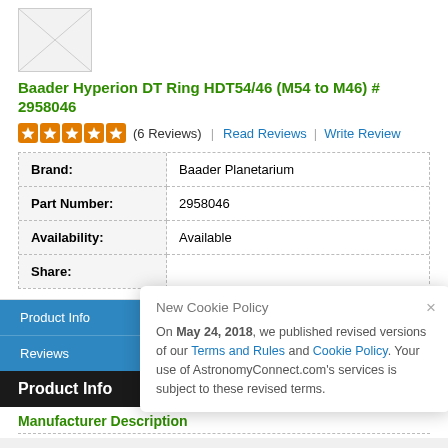[Figure (photo): Product thumbnail image placeholder]
Baader Hyperion DT Ring HDT54/46 (M54 to M46) # 2958046
(6 Reviews)   Read Reviews   Write Review
| Brand: | Baader Planetarium |
| Part Number: | 2958046 |
| Availability: | Available |
| Share: |  |
Product Info
Reviews
Product Info
Manufacturer Description
New Cookie Policy
On May 24, 2018, we published revised versions of our Terms and Rules and Cookie Policy. Your use of AstronomyConnect.com's services is subject to these revised terms.